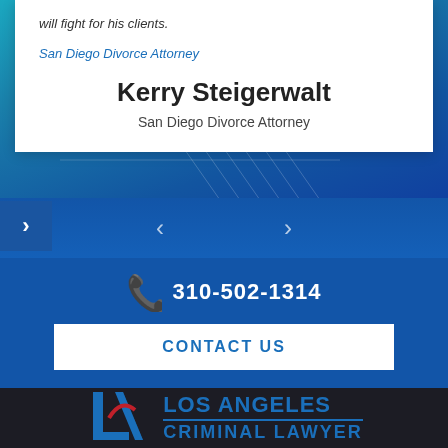will fight for his clients.
San Diego Divorce Attorney
Kerry Steigerwalt
San Diego Divorce Attorney
310-502-1314
CONTACT US
[Figure (logo): Los Angeles Criminal Lawyer logo with stylized LA monogram in blue and red]